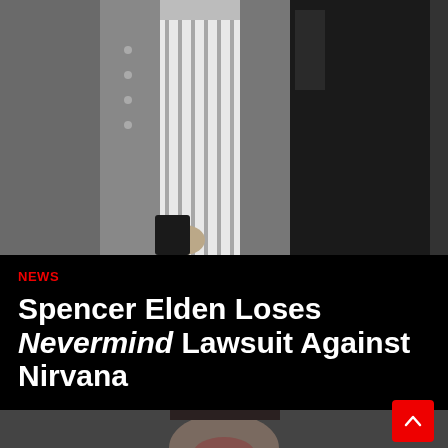[Figure (photo): Black and white photo of two or three people, cropped at the neck/shoulder level, showing torsos and hands. One person wears layered loose clothing with a striped shirt, another wears a black leather jacket.]
NEWS
Spencer Elden Loses Nevermind Lawsuit Against Nirvana
[Figure (photo): Partial photo of a person's face, blurred/dark, partially visible at the bottom of the page.]